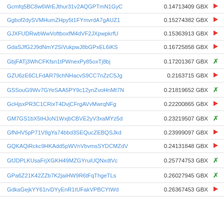| Address | Amount |  |
| --- | --- | --- |
| Gcmfq5BC8w6WrEJthur31v2AQGPTmN1GyC | 0.14713409 GBX | → |
| Ggbof2dySVMHumZHpy5t1FYmvrdA7gAUZ1 | 0.15274382 GBX | → |
| GJXFUDRwbWwVoftboxfM4dVF2JXpwpkrfU | 0.15363913 GBX | → |
| GdaSJfG2J9dNmY2SiVukpwJ8bGPxEL6iKS | 0.16725858 GBX | → |
| GbjFATj3WhCFKfsn1tPWnexPy85oxTj8bj | 0.17201367 GBX | ✓ |
| GZU6zE6CLFdAR79chNHacvS9CC7nZzC5Jg | 0.2163715 GBX | → |
| GSSouG9Wv7GYeSAA5PY9c12ynZvoHnMt7N | 0.21819652 GBX | ✓ |
| GcHjsxPR3C1CRixT4DvjCFrgAVvMwrqNFg | 0.22200865 GBX | → |
| GM7GS1bX5tHJoN1WxjbCBVE2yV3xaMYz5d | 0.23219507 GBX | ✓ |
| GfNHV5pP71V8gYa74bbd3SEQucZEBQSJkd | 0.23999097 GBX | → |
| GQKAQiRckc9HKAdd5pWVnVbvmsSYDCMZdV | 0.24131848 GBX | → |
| GfJDPLKUsaFrjXGKH49MZGYruiUQNxdtVc | 0.25774753 GBX | ✓ |
| GPa6Z21K42ZZb7K2jaiHW9R6tFqThgeTLs | 0.26027945 GBX | ✓ |
| GdkaGejkYY61rvDYyEnR1tUFakVPBCYtWd | 0.26367453 GBX | → |